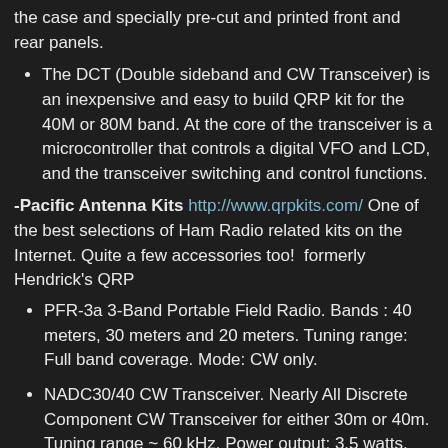the case and specially pre-cut and printed front and rear panels.
The DCT (Double sideband and CW Transceiver) is an inexpensive and easy to build QRP kit for the 40M or 80M band. At the core of the transceiver is a microcontroller that controls a digital VFO and LCD, and the transceiver switching and control functions.
-Pacific Antenna Kits http://www.qrpkits.com/ One of the best selections of Ham Radio related kits on the Internet. Quite a few accessories too!  formerly Hendrick's QRP
PFR-3a 3-Band Portable Field Radio. Bands : 40 meters, 30 meters and 20 meters. Tuning range: Full band coverage. Mode: CW only.
NADC30/40 CW Transceiver. Nearly All Discrete Component CW Transceiver for either 30m or 40m. Tuning range ~ 60 kHz. Power output: 3.5 watts.
Ft Tuthill 15 Meter CW Transceiver. Two 60 KHz tuning ranges, ~ 21.000 - 21.060 and 21.075 - 21.135 MHz. Power Output: 5 Watts.